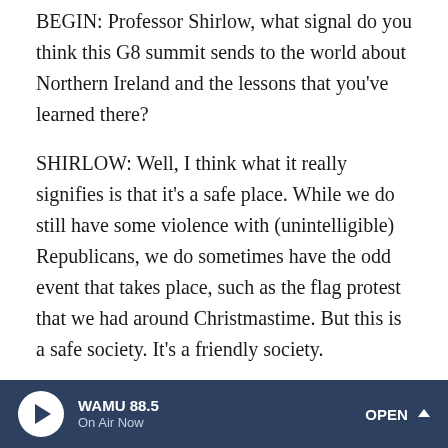BEGIN: Professor Shirlow, what signal do you think this G8 summit sends to the world about Northern Ireland and the lessons that you've learned there?
SHIRLOW: Well, I think what it really signifies is that it's a safe place. While we do still have some violence with (unintelligible) Republicans, we do sometimes have the odd event that takes place, such as the flag protest that we had around Christmastime. But this is a safe society. It's a friendly society.
The political elite of the world are safe to come to Northern Ireland and that's something that was completely unimaginable. If somebody said to me 20 years ago that the G8 would be held in Northern Ireland, I simply would have
WAMU 88.5 On Air Now OPEN